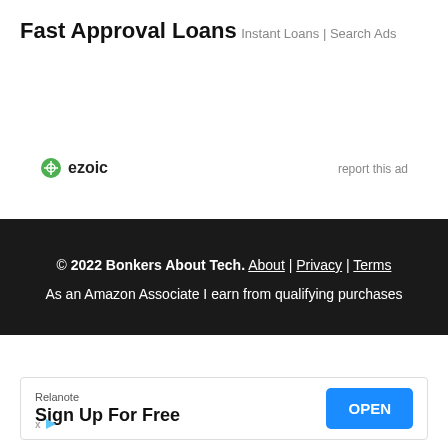Fast Approval Loans
Instant Loans | Search Ads
[Figure (logo): Ezoic logo with green compass icon and 'ezoic' text]
report this ad
© 2022 Bonkers About Tech. About | Privacy | Terms
As an Amazon Associate I earn from qualifying purchases
[Figure (screenshot): Bottom ad bar: Relanote brand, 'Sign Up For Free' text, OPEN button in blue]